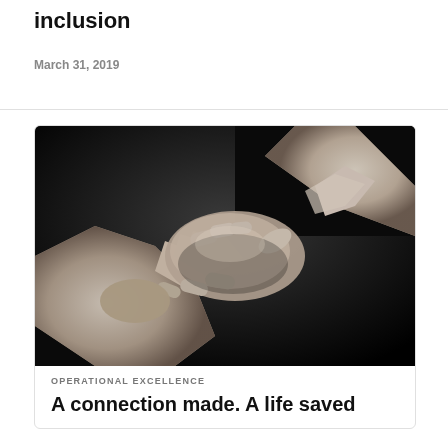inclusion
March 31, 2019
[Figure (photo): Black and white photograph of two hands clasping each other against a dark background, suggesting connection or rescue.]
OPERATIONAL EXCELLENCE
A connection made. A life saved